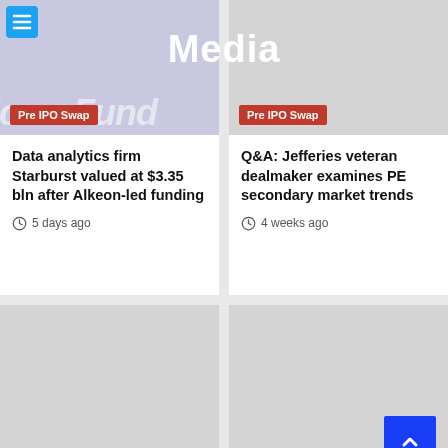Media
Pre IPO Swap
Data analytics firm Starburst valued at $3.35 bln after Alkeon-led funding
5 days ago
Pre IPO Swap
Q&A: Jefferies veteran dealmaker examines PE secondary market trends
4 weeks ago